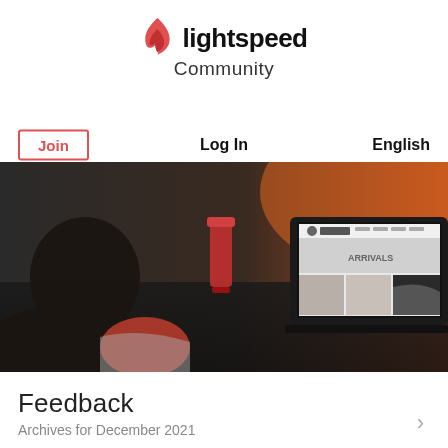[Figure (logo): Lightspeed Community logo with flame icon, bold 'lightspeed' text and 'Community' below]
Join
Log In
English
[Figure (photo): Person sitting at a dark table using a laptop showing an e-commerce website, with a red drink in the background; warm orange lighting in background]
Feedback
Archives for December 2021
>